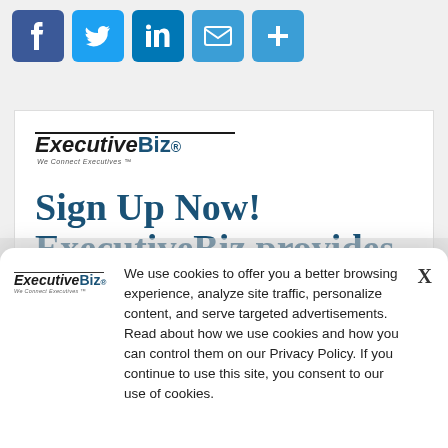[Figure (infographic): Social sharing icons: Facebook (blue), Twitter (blue), LinkedIn (blue), Email (blue envelope), More/Plus (blue)]
[Figure (logo): ExecutiveBiz logo with tagline 'We Connect Executives']
Sign Up Now! ExecutiveBiz provides you with Daily Updates and
[Figure (logo): ExecutiveBiz logo in cookie consent popup]
We use cookies to offer you a better browsing experience, analyze site traffic, personalize content, and serve targeted advertisements. Read about how we use cookies and how you can control them on our Privacy Policy. If you continue to use this site, you consent to our use of cookies.
LAST NAME